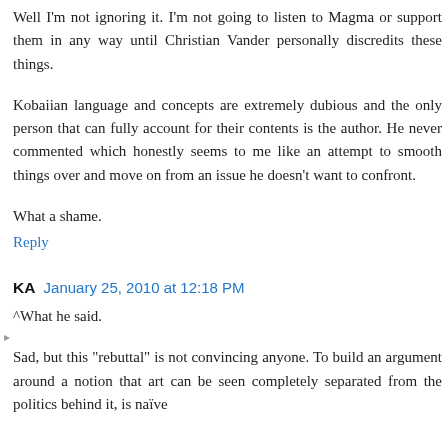Well I'm not ignoring it. I'm not going to listen to Magma or support them in any way until Christian Vander personally discredits these things.
Kobaiian language and concepts are extremely dubious and the only person that can fully account for their contents is the author. He never commented which honestly seems to me like an attempt to smooth things over and move on from an issue he doesn't want to confront.
What a shame.
Reply
KA January 25, 2010 at 12:18 PM
^What he said.
Sad, but this "rebuttal" is not convincing anyone. To build an argument around a notion that art can be seen completely separated from the politics behind it, is naïve